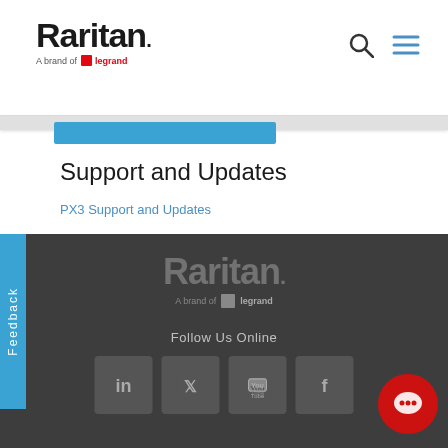[Figure (logo): Raritan logo with 'A brand of Legrand' tagline in the page header]
[Figure (infographic): Search and hamburger menu icons in top right header]
Support and Updates
PX3 Support and Updates
[Figure (logo): Raritan 'A brand of Legrand' footer logo in grey]
Follow Us Online
[Figure (infographic): Social media icons: LinkedIn, Twitter, YouTube, Facebook]
[Figure (infographic): Red chat bubble button in bottom right corner]